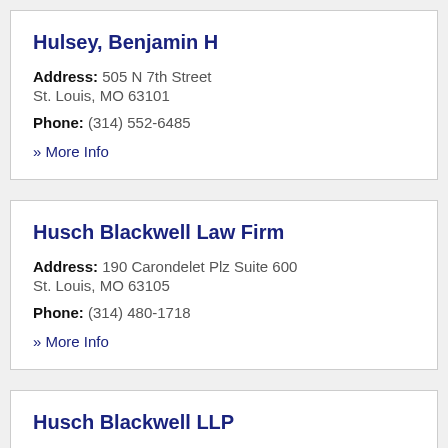Hulsey, Benjamin H
Address: 505 N 7th Street
St. Louis, MO 63101
Phone: (314) 552-6485
» More Info
Husch Blackwell Law Firm
Address: 190 Carondelet Plz Suite 600
St. Louis, MO 63105
Phone: (314) 480-1718
» More Info
Husch Blackwell LLP